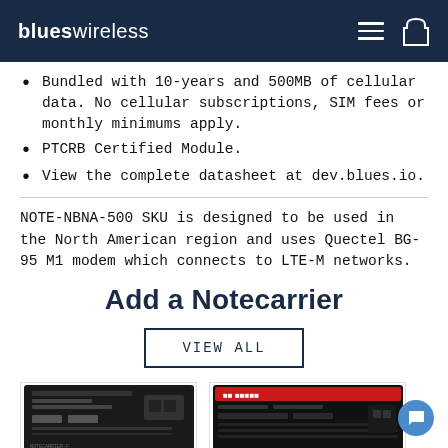blues wireless
Bundled with 10-years and 500MB of cellular data. No cellular subscriptions, SIM fees or monthly minimums apply.
PTCRB Certified Module.
View the complete datasheet at dev.blues.io.
NOTE-NBNA-500 SKU is designed to be used in the North American region and uses Quectel BG-95 M1 modem which connects to LTE-M networks.
Add a Notecarrier
VIEW ALL
[Figure (photo): Notecarrier-F PCB module, black circuit board with components]
[Figure (photo): Another Notecarrier module, thin black PCB with red label strip]